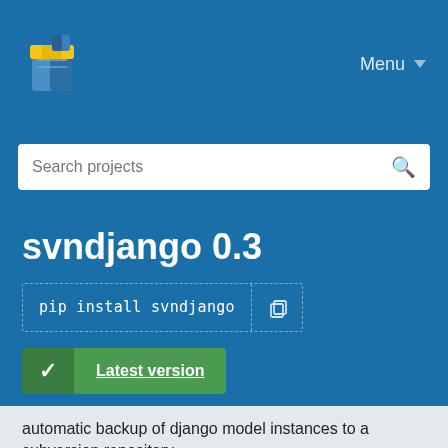Menu
[Figure (logo): PyPI package index logo - colorful cube/box icon]
Search projects
svndjango 0.3
pip install svndjango
Latest version
Released: Aug 10, 2009
automatic backup of django model instances to a subversion repository